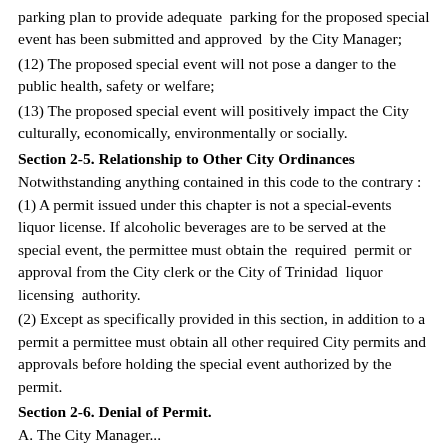parking plan to provide adequate parking for the proposed special event has been submitted and approved by the City Manager;
(12) The proposed special event will not pose a danger to the public health, safety or welfare;
(13) The proposed special event will positively impact the City culturally, economically, environmentally or socially.
Section 2-5. Relationship to Other City Ordinances
Notwithstanding anything contained in this code to the contrary : (1) A permit issued under this chapter is not a special-events liquor license. If alcoholic beverages are to be served at the special event, the permittee must obtain the required permit or approval from the City clerk or the City of Trinidad liquor licensing authority.
(2) Except as specifically provided in this section, in addition to a permit a permittee must obtain all other required City permits and approvals before holding the special event authorized by the permit.
Section 2-6. Denial of Permit.
A. The City Manager...